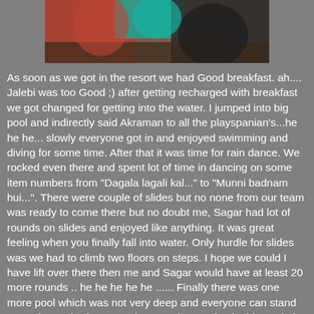[Figure (photo): Partial photo showing people, teal/turquoise clothing, brown/red background, cropped at top of page]
As soon as we got in the resort we had Good breakfast. ah.... Jalebi was too Good ;) after getting recharged with breakfast we got changed for getting into the water. I jumped into big pool and indirectly said Akraman to all the playspanian's...he he he... slowly everyone got in and enjoyed swimming and diving for some time. After that it was time for rain dance. We rocked even there and spent lot of time in dancing on some item numbers from "Dagala lagali kal..." to "Munni badnam hui...". There were couple of slides but no none from our team was ready to come there but no doubt me, Sagar had lot of rounds on slides and enjoyed like anything. It was great feeling when you finally fall into water. Only hurdle for slides was we had to climb two floors on steps. I hope we could I have lift over there then me and Sagar would have at least 20 more rounds .. he he he he he ...... Finally there was one more pool which was not very deep and everyone can stand properly. We had a great photography session in this pool also played some games.